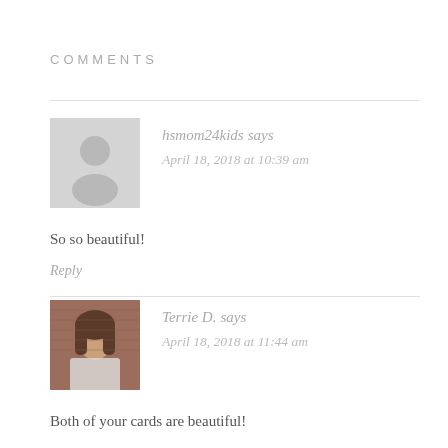COMMENTS
hsmom24kids says
April 18, 2018 at 10:39 am
So so beautiful!
Reply
[Figure (photo): Profile photo of Terrie D. - a woman with dark hair in front of a brick wall]
Terrie D. says
April 18, 2018 at 11:44 am
Both of your cards are beautiful!